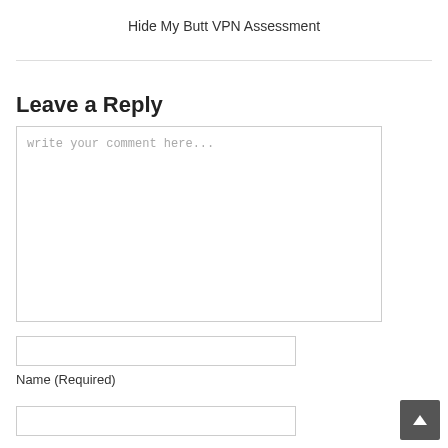Hide My Butt VPN Assessment
Leave a Reply
write your comment here...
Name (Required)